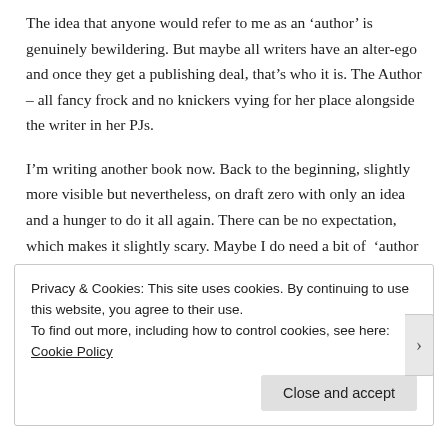The idea that anyone would refer to me as an 'author' is genuinely bewildering. But maybe all writers have an alter-ego and once they get a publishing deal, that’s who it is. The Author – all fancy frock and no knickers vying for her place alongside the writer in her PJs.
I’m writing another book now. Back to the beginning, slightly more visible but nevertheless, on draft zero with only an idea and a hunger to do it all again. There can be no expectation, which makes it slightly scary. Maybe I do need a bit of ‘author me’ if only to buoy my confidence.
Privacy & Cookies: This site uses cookies. By continuing to use this website, you agree to their use.
To find out more, including how to control cookies, see here: Cookie Policy